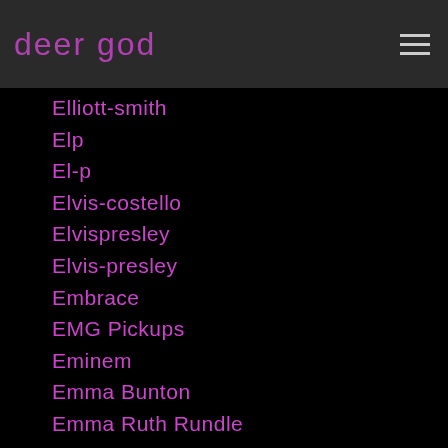deer god
Elliott-smith
Elp
El-p
Elvis-costello
Elvispresley
Elvis-presley
Embrace
EMG Pickups
Eminem
Emma Bunton
Emma Ruth Rundle
Emperor
Empire-of-the-sun
End-studio
En-esch
Englandsdreaming
English-beat